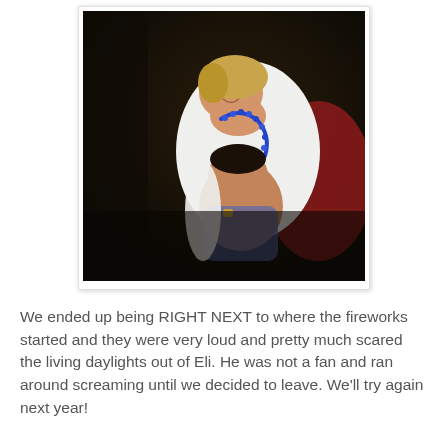[Figure (photo): A woman in a white top with a blue bead necklace holds a baby/toddler. The photo is taken indoors in a dark setting. The child appears to be wearing red. The photo has a white border and subtle box shadow, resembling a printed photograph.]
We ended up being RIGHT NEXT to where the fireworks started and they were very loud and pretty much scared the living daylights out of Eli. He was not a fan and ran around screaming until we decided to leave. We'll try again next year!